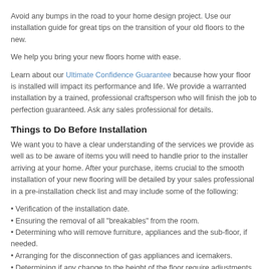Avoid any bumps in the road to your home design project. Use our installation guide for great tips on the transition of your old floors to the new.
We help you bring your new floors home with ease.
Learn about our Ultimate Confidence Guarantee because how your floor is installed will impact its performance and life. We provide a warranted installation by a trained, professional craftsperson who will finish the job to perfection guaranteed. Ask any sales professional for details.
Things to Do Before Installation
We want you to have a clear understanding of the services we provide as well as to be aware of items you will need to handle prior to the installer arriving at your home. After your purchase, items crucial to the smooth installation of your new flooring will be detailed by your sales professional in a pre-installation check list and may include some of the following:
Verification of the installation date.
Ensuring the removal of all "breakables" from the room.
Determining who will remove furniture, appliances and the sub-floor, if needed.
Arranging for the disconnection of gas appliances and icemakers.
Determining if any change to the height of the floor require adjustments to doors in order for them to close properly.
Ensuring the removal of items in storage areas and closets where the floor is to be resurfaced.